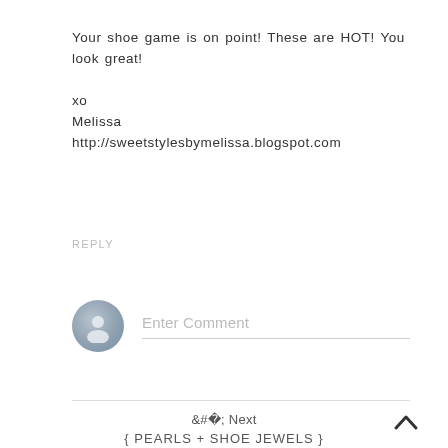Your shoe game is on point! These are HOT! You look great!

xo
Melissa
http://sweetstylesbymelissa.blogspot.com
REPLY
[Figure (other): User avatar placeholder circle with generic person silhouette icon, next to an 'Enter Comment' input field with bottom border]
< Next
{ PEARLS + SHOE JEWELS }